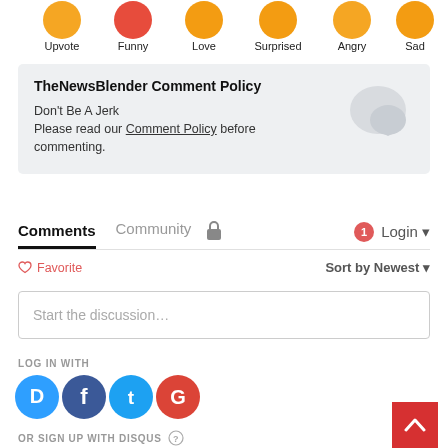[Figure (infographic): Row of emoji reaction icons: Upvote, Funny, Love, Surprised, Angry, Sad — each shown as an orange circle with a label below]
TheNewsBlender Comment Policy
Don't Be A Jerk
Please read our Comment Policy before commenting.
Comments   Community   🔒   1   Login ▾
♡ Favorite   Sort by Newest ▾
Start the discussion…
LOG IN WITH
[Figure (infographic): Social login icons: Disqus (blue circle D), Facebook (dark blue circle f), Twitter (cyan circle bird), Google (red circle G)]
OR SIGN UP WITH DISQUS ?